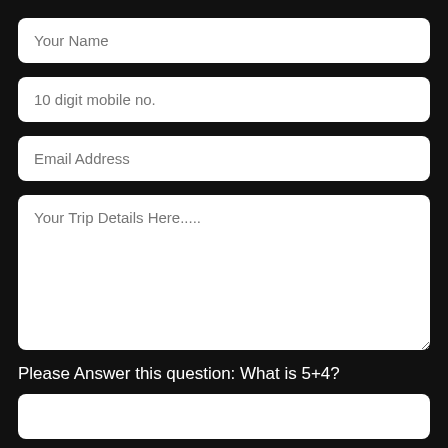Your Name
10 digit mobile no.
Email Address
Your Trip Details Here.....
Please Answer this question: What is 5+4?